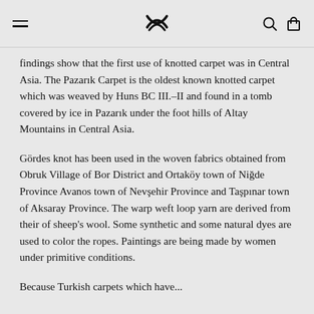[navigation bar with hamburger menu, logo, search and cart icons]
findings show that the first use of knotted carpet was in Central Asia. The Pazarık Carpet is the oldest known knotted carpet which was weaved by Huns BC III.–II and found in a tomb covered by ice in Pazarık under the foot hills of Altay Mountains in Central Asia.
Gördes knot has been used in the woven fabrics obtained from Obruk Village of Bor District and Ortaköy town of Niğde Province Avanos town of Nevşehir Province and Taşpınar town of Aksaray Province. The warp weft loop yarn are derived from their of sheep's wool. Some synthetic and some natural dyes are used to color the ropes. Paintings are being made by women under primitive conditions.
Because Turkish carpets which have...